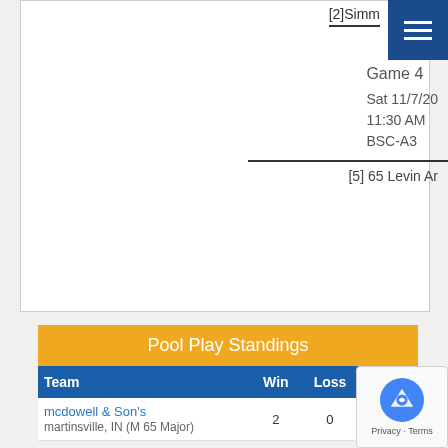[2]Simm
Game 4
Sat 11/7/20
11:30 AM
BSC-A3
[5] 65 Levin Ar
| Team | Win | Loss | PCT |
| --- | --- | --- | --- |
| mcdowell & Son's
martinsville, IN (M 65 Major) | 2 | 0 | 1.000 |